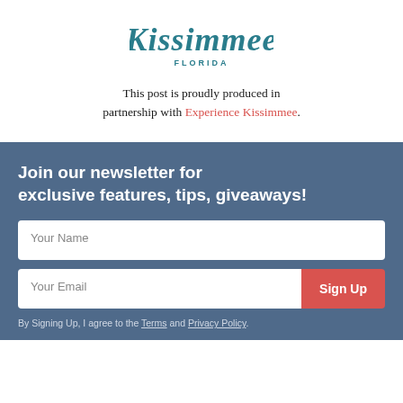[Figure (logo): Kissimmee Florida cursive logo in teal/dark green color with FLORIDA in small caps beneath]
This post is proudly produced in partnership with Experience Kissimmee.
Join our newsletter for exclusive features, tips, giveaways!
Your Name
Your Email
Sign Up
By Signing Up, I agree to the Terms and Privacy Policy.